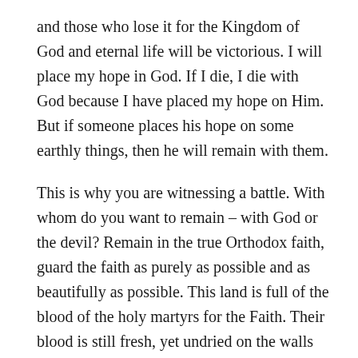and those who lose it for the Kingdom of God and eternal life will be victorious. I will place my hope in God. If I die, I die with God because I have placed my hope on Him. But if someone places his hope on some earthly things, then he will remain with them.
This is why you are witnessing a battle. With whom do you want to remain – with God or the devil? Remain in the true Orthodox faith, guard the faith as purely as possible and as beautifully as possible. This land is full of the blood of the holy martyrs for the Faith. Their blood is still fresh, yet undried on the walls of darkness.
What is taking place today is neither funny nor entertaining, for even the communists did not bring so